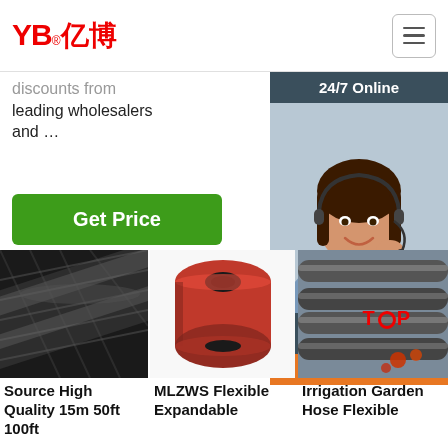[Figure (logo): YB亿博 company logo in red with registered trademark symbol]
discounts from leading wholesalers and …
Get Price
[Figure (illustration): 24/7 Online customer service representative with headset. Click here for free chat! QUOTATION button.]
[Figure (photo): Black braided hydraulic hose close-up]
Source High Quality 15m 50ft 100ft
[Figure (photo): Red rubber hose cross-section showing bore]
MLZWS Flexible Expandable
[Figure (photo): Irrigation garden hose flexible]
Irrigation Garden Hose Flexible